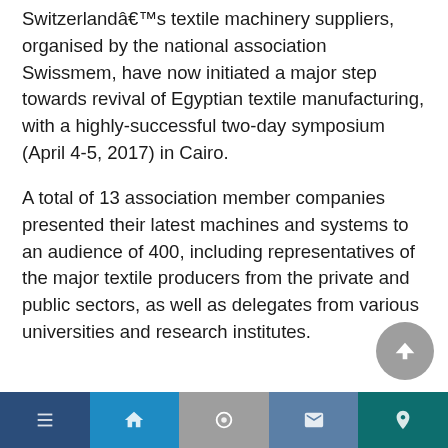Switzerland's textile machinery suppliers, organised by the national association Swissmem, have now initiated a major step towards revival of Egyptian textile manufacturing, with a highly-successful two-day symposium (April 4-5, 2017) in Cairo.
A total of 13 association member companies presented their latest machines and systems to an audience of 400, including representatives of the major textile producers from the private and public sectors, as well as delegates from various universities and research institutes.